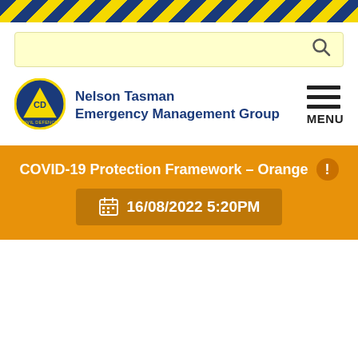[Figure (other): Hazard stripe header banner with diagonal yellow and dark blue stripes]
[Figure (other): Yellow search bar with magnifying glass icon on the right]
[Figure (logo): Nelson Tasman Emergency Management Group logo — blue circular badge with CD triangle and Civil Defence text]
Nelson Tasman Emergency Management Group
[Figure (other): Hamburger menu icon (three horizontal lines) with MENU label]
COVID-19 Protection Framework – Orange
16/08/2022 5:20PM